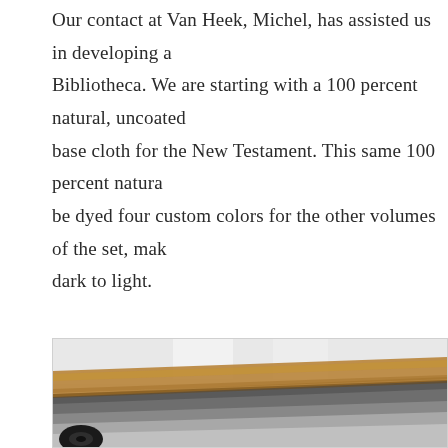Our contact at Van Heek, Michel, has assisted us in developing a Bibliotheca. We are starting with a 100 percent natural, uncoated base cloth for the New Testament. This same 100 percent natura be dyed four custom colors for the other volumes of the set, mak dark to light.
[Figure (photo): Close-up photo of several sheets of dark grey and light grey cloth/fabric samples laid flat on a surface, with a wooden ruler placed diagonally across them. A roll of black tape is visible at the bottom left corner. Background is blurred white/light grey.]